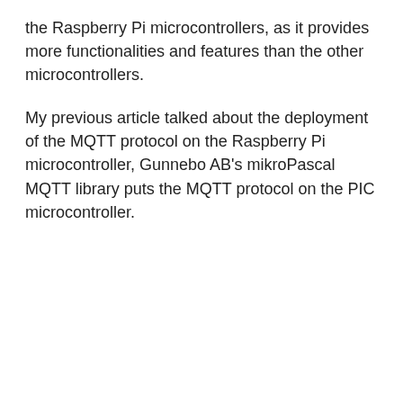the Raspberry Pi microcontrollers, as it provides more functionalities and features than the other microcontrollers.
My previous article talked about the deployment of the MQTT protocol on the Raspberry Pi microcontroller, Gunnebo AB's mikroPascal MQTT library puts the MQTT protocol on the PIC microcontroller.